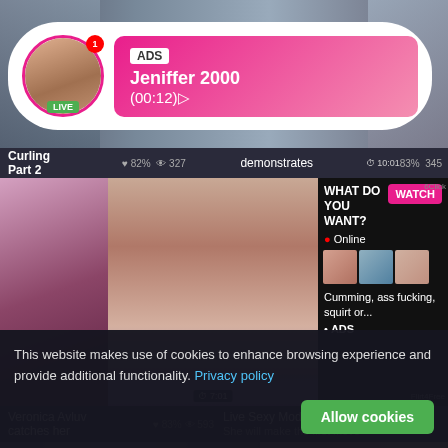[Figure (screenshot): Adult streaming website screenshot with video thumbnails and an advertisement popup showing a user named Jeniffer 2000 with LIVE badge and timer (00:12)]
ADS
Jeniffer 2000
(00:12)
Curling Part 2
82% 327
demonstrates
83% 345
WHAT DO YOU WANT?
WATCH
Online
Cumming, ass fucking, squirt or...
• ADS
Veronica Avluv catches her
83% 593
Live Sexy Models 🔥
She will make the first move
This website makes use of cookies to enhance browsing experience and provide additional functionality. Privacy policy
Allow cookies